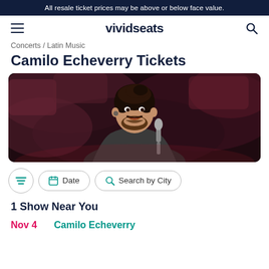All resale ticket prices may be above or below face value.
vividseats
Concerts / Latin Music
Camilo Echeverry Tickets
[Figure (photo): Photo of Camilo Echeverry performing on stage, smiling while holding a microphone, dark reddish background]
Date | Search by City (filter buttons)
1 Show Near You
Nov 4   Camilo Echeverry